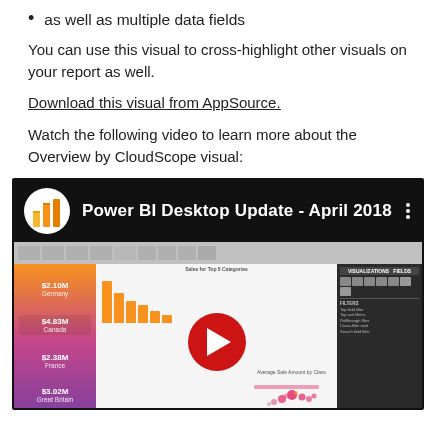as well as multiple data fields
You can use this visual to cross-highlight other visuals on your report as well.
Download this visual from AppSource.
Watch the following video to learn more about the Overview by CloudScope visual:
[Figure (screenshot): YouTube-style video thumbnail showing Power BI Desktop Update - April 2018, with Power BI logo on black background header, and a screenshot of Power BI Desktop interface below with a play button overlay.]